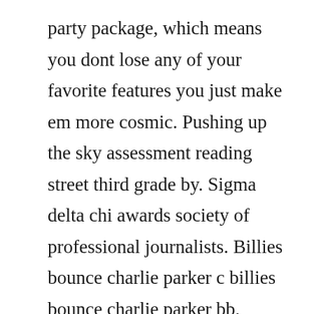party package, which means you dont lose any of your favorite features you just make em more cosmic. Pushing up the sky assessment reading street third grade by. Sigma delta chi awards society of professional journalists. Billies bounce charlie parker c billies bounce charlie parker bb. Therefore it need a free signup process to obtain the book. Get your kindle here, or download a free kindle reading app. He also described the process as connected to ancient native wisdom he called, pushing up the sky.